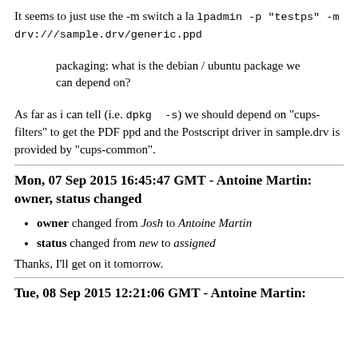It seems to just use the -m switch a la lpadmin -p "testps" -m drv:///sample.drv/generic.ppd
packaging: what is the debian / ubuntu package we can depend on?
As far as i can tell (i.e. dpkg -s) we should depend on "cups-filters" to get the PDF ppd and the Postscript driver in sample.drv is provided by "cups-common".
Mon, 07 Sep 2015 16:45:47 GMT - Antoine Martin: owner, status changed
owner changed from Josh to Antoine Martin
status changed from new to assigned
Thanks, I'll get on it tomorrow.
Tue, 08 Sep 2015 12:21:06 GMT - Antoine Martin: